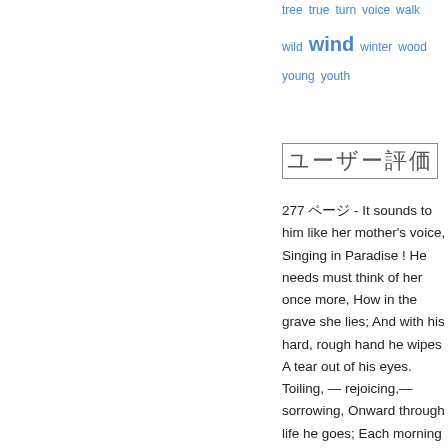tree  true  turn  voice  walk  wild  wind  winter  wood  young  youth
ユーザー評価
277 ページ - It sounds to him like her mother's voice, Singing in Paradise ! He needs must think of her once more, How in the grave she lies; And with his hard, rough hand he wipes A tear out of his eyes. Toiling, — rejoicing,— sorrowing, Onward through life he goes; Each morning sees some task begin, Each evening sees its close ; Something attempted, something